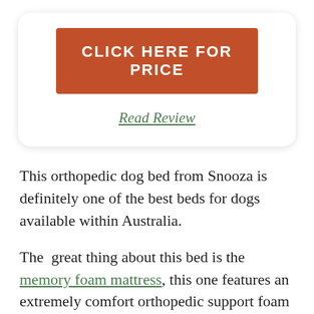[Figure (other): Orange button with white bold text reading CLICK HERE FOR PRICE, inside a rounded white card]
Read Review
This orthopedic dog bed from Snooza is definitely one of the best beds for dogs available within Australia.
The great thing about this bed is the memory foam mattress, this one features an extremely comfort orthopedic support foam base along with bolstered walls that add a feeling of protection and comfort, which